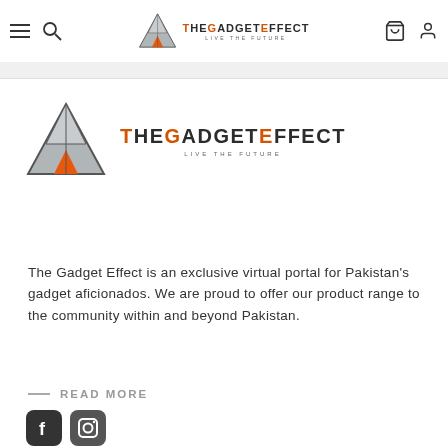[Figure (logo): TheGadgetEffect logo with triangle/tent icon in header nav bar, with hamburger menu, search icon, cart icon, user icon]
[Figure (logo): TheGadgetEffect large logo with triangle/tent graphic and orange+dark text 'THEGADGETEFFECT' with tagline 'LIVE THE FUTURE']
The Gadget Effect is an exclusive virtual portal for Pakistan's gadget aficionados. We are proud to offer our product range to the community within and beyond Pakistan.
— READ MORE
[Figure (logo): Facebook and Instagram social media icon circles at bottom]